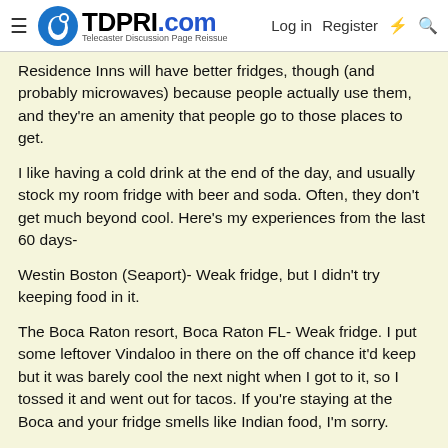TDPRI.com — Telecaster Discussion Page Reissue | Log in | Register
Residence Inns will have better fridges, though (and probably microwaves) because people actually use them, and they're an amenity that people go to those places to get.
I like having a cold drink at the end of the day, and usually stock my room fridge with beer and soda. Often, they don't get much beyond cool. Here's my experiences from the last 60 days-
Westin Boston (Seaport)- Weak fridge, but I didn't try keeping food in it.
The Boca Raton resort, Boca Raton FL- Weak fridge. I put some leftover Vindaloo in there on the off chance it'd keep but it was barely cool the next night when I got to it, so I tossed it and went out for tacos. If you're staying at the Boca and your fridge smells like Indian food, I'm sorry.
Wyndham, Clearwater FL- I was in the Presidential Suite with a full kitchen including full sized refrigerator, so this one doesn't count.